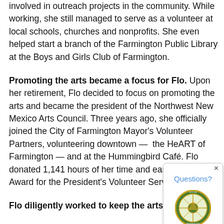involved in outreach projects in the community. While working, she still managed to serve as a volunteer at local schools, churches and nonprofits. She even helped start a branch of the Farmington Public Library at the Boys and Girls Club of Farmington.
Promoting the arts became a focus for Flo. Upon her retirement, Flo decided to focus on promoting the arts and became the president of the Northwest New Mexico Arts Council. Three years ago, she officially joined the City of Farmington Mayor's Volunteer Partners, volunteering downtown —  the HeART of Farmington — and at the Hummingbird Café. Flo donated 1,141 hours of her time and earned the Gold Award for the President's Volunteer Service Program.
Flo diligently worked to keep the arts at the forefront of the downtown area by being...